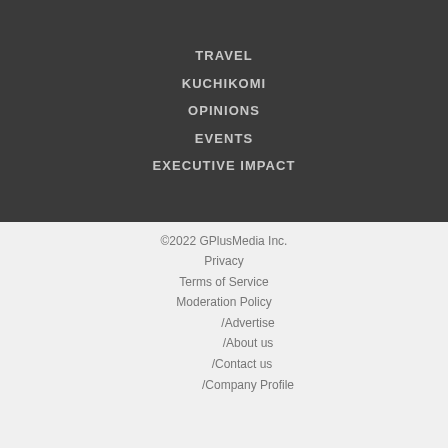TRAVEL
KUCHIKOMI
OPINIONS
EVENTS
EXECUTIVE IMPACT
©2022 GPlusMedia Inc.
Privacy
Terms of Service
Moderation Policy
□□□□/Advertise
□□□□/About us
□□□/Contact us
□□□□/Company Profile